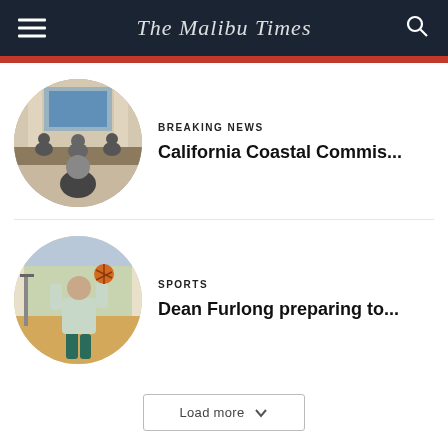The Malibu Times
[Figure (photo): Circular thumbnail of a government meeting room with people seated at tables]
BREAKING NEWS
California Coastal Commis...
[Figure (photo): Circular thumbnail of a basketball player in teal uniform shooting the ball]
SPORTS
Dean Furlong preparing to...
Load more